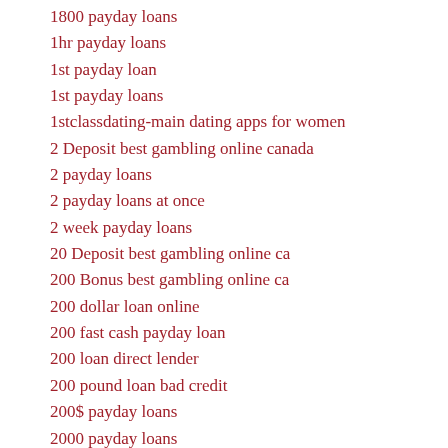1800 payday loans
1hr payday loans
1st payday loan
1st payday loans
1stclassdating-main dating apps for women
2 Deposit best gambling online canada
2 payday loans
2 payday loans at once
2 week payday loans
20 Deposit best gambling online ca
200 Bonus best gambling online ca
200 dollar loan online
200 fast cash payday loan
200 loan direct lender
200 pound loan bad credit
200$ payday loans
2000 payday loans
24 7 instant payday loans
24 7 loan pros